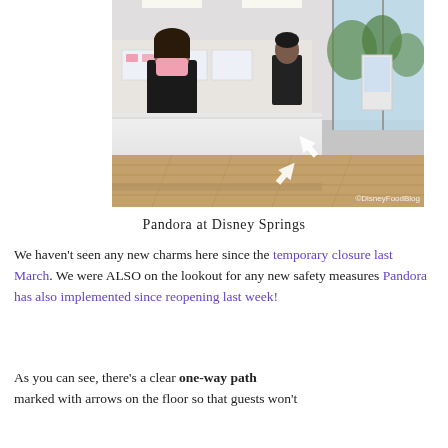[Figure (photo): Interior of Pandora jewelry store at Disney Springs. A store employee wearing a pink face mask stands behind a white counter. Another employee in black is visible in the background. The floor is light wood. Two white directional arrows are visible on the floor indicating a one-way path. A copyright watermark reads ©DisneyFoodBlog.]
Pandora at Disney Springs
We haven't seen any new charms here since the temporary closure last March. We were ALSO on the lookout for any new safety measures Pandora has also implemented since reopening last week!
As you can see, there's a clear one-way path marked with arrows on the floor so that guests won't